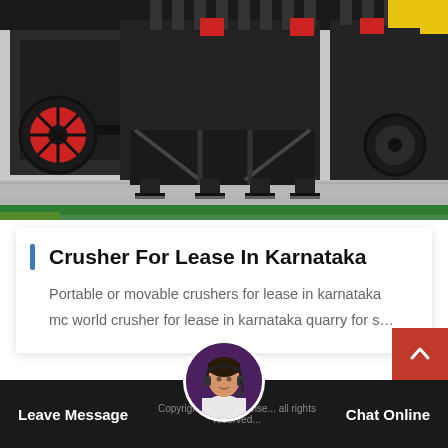[Figure (photo): Industrial crushing machines/equipment in a factory or warehouse setting. Large black heavy machinery with red accents, springs, and wheels on a concrete floor. Green and yellow stripe visible at bottom of image.]
Crusher For Lease In Karnataka
Portable or movable crushers for lease in karnataka mc world crusher for lease in karnataka quarry for s…
Leave Message  Copyright © 2018 Conse... all rights reserved...  Chat Online